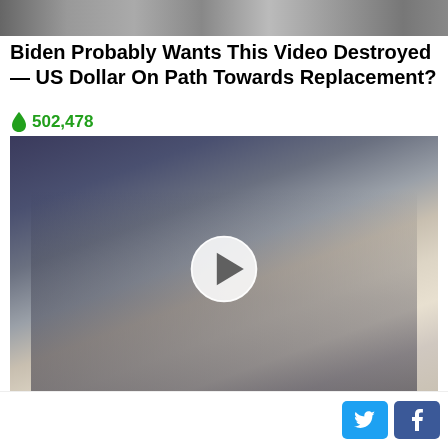[Figure (photo): Partial photo strip at top of page, showing people]
Biden Probably Wants This Video Destroyed — US Dollar On Path Towards Replacement?
🔥 502,478
[Figure (photo): Photo of people walking including Biden and Kamala Harris wearing masks, with a video play button overlay]
Democrats Want This Video Destroyed — Watch Now Before It's Banned